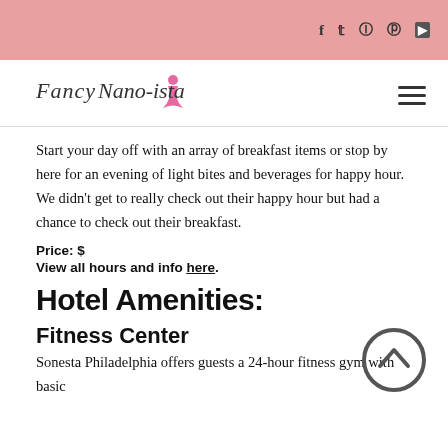Social icons: f, t, instagram, pinterest, youtube
[Figure (logo): Fancy Nano-ista script logo with dress illustration]
Start your day off with an array of breakfast items or stop by here for an evening of light bites and beverages for happy hour. We didn't get to really check out their happy hour but had a chance to check out their breakfast.
Price: $
View all hours and info here.
Hotel Amenities:
Fitness Center
Sonesta Philadelphia offers guests a 24-hour fitness gym with basic
[Figure (illustration): Circular scroll-to-top chevron up arrow button]